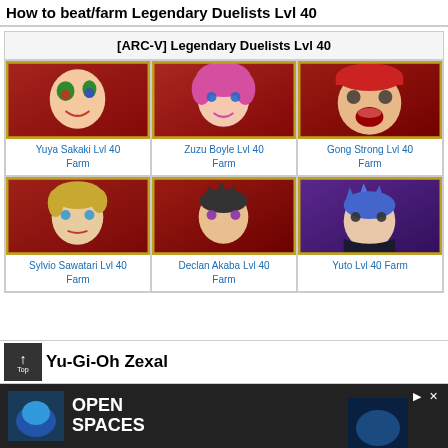How to beat/farm Legendary Duelists Lvl 40
| [ARC-V] Legendary Duelists Lvl 40 |
| --- |
| Yuya Sakaki Lvl 40 Farm | Zuzu Boyle Lvl 40 Farm | Gong Strong Lvl 40 Farm |
| Sylvio Sawatari Lvl 40 Farm | Declan Akaba Lvl 40 Farm | Yuto Lvl 40 Farm |
Yu-Gi-Oh Zexal
[Figure (other): Advertisement banner with text OPEN SPACES]